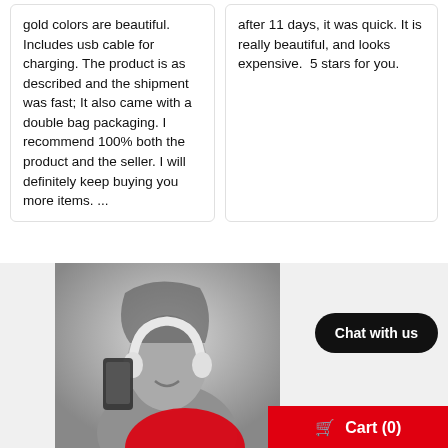gold colors are beautiful. Includes usb cable for charging. The product is as described and the shipment was fast; It also came with a double bag packaging. I recommend 100% both the product and the seller. I will definitely keep buying you more items. ...
after 11 days, it was quick. It is really beautiful, and looks expensive.  5 stars for you.
[Figure (photo): Black and white photo of a smiling woman with headphones taking a selfie with a phone, with a red circular element in the lower portion]
Chat with us
Cart (0)